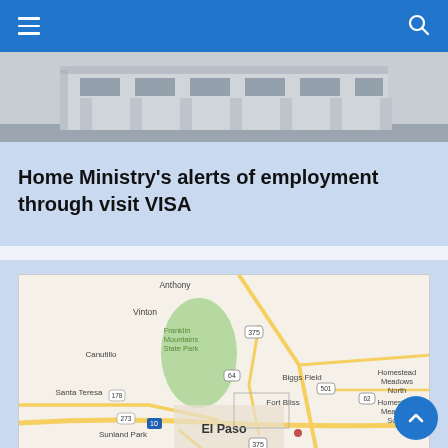Navigation bar with hamburger menu and search icon
[Figure (photo): Exterior photo of a government building with pillars and facade]
Home Ministry's alerts of employment through visit VISA
[Figure (map): Google Map showing El Paso, Texas area including Franklin Mountains State Park, Fort Bliss, Biggs Field, Santa Teresa, Sunland Park, Canutillo, Vinton, Anthony, Homestead Meadows North, Homestead Meadows South, and Ciudad Juárez across the border]